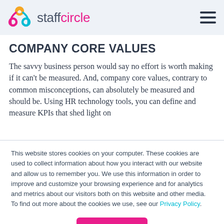staffcircle
COMPANY CORE VALUES
The savvy business person would say no effort is worth making if it can't be measured. And, company core values, contrary to common misconceptions, can absolutely be measured and should be. Using HR technology tools, you can define and measure KPIs that shed light on
This website stores cookies on your computer. These cookies are used to collect information about how you interact with our website and allow us to remember you. We use this information in order to improve and customize your browsing experience and for analytics and metrics about our visitors both on this website and other media. To find out more about the cookies we use, see our Privacy Policy.
Accept